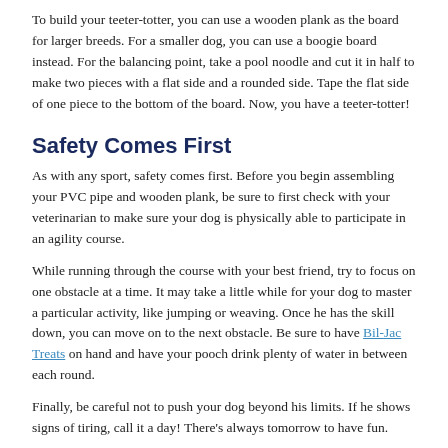To build your teeter-totter, you can use a wooden plank as the board for larger breeds. For a smaller dog, you can use a boogie board instead. For the balancing point, take a pool noodle and cut it in half to make two pieces with a flat side and a rounded side. Tape the flat side of one piece to the bottom of the board. Now, you have a teeter-totter!
Safety Comes First
As with any sport, safety comes first. Before you begin assembling your PVC pipe and wooden plank, be sure to first check with your veterinarian to make sure your dog is physically able to participate in an agility course.
While running through the course with your best friend, try to focus on one obstacle at a time. It may take a little while for your dog to master a particular activity, like jumping or weaving. Once he has the skill down, you can move on to the next obstacle. Be sure to have Bil-Jac Treats on hand and have your pooch drink plenty of water in between each round.
Finally, be careful not to push your dog beyond his limits. If he shows signs of tiring, call it a day! There's always tomorrow to have fun.
Creating Competence